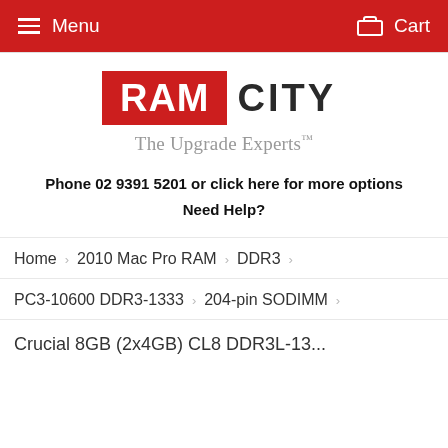Menu   Cart
[Figure (logo): RAM CITY logo — RAM in white text on red background, CITY in dark text. Tagline: The Upgrade Experts™]
Phone 02 9391 5201 or click here for more options
Need Help?
Home  ›  2010 Mac Pro RAM  ›  DDR3  ›
PC3-10600 DDR3-1333  ›  204-pin SODIMM  ›
Crucial 8GB (2x4GB) CL8 DDR3L-13...